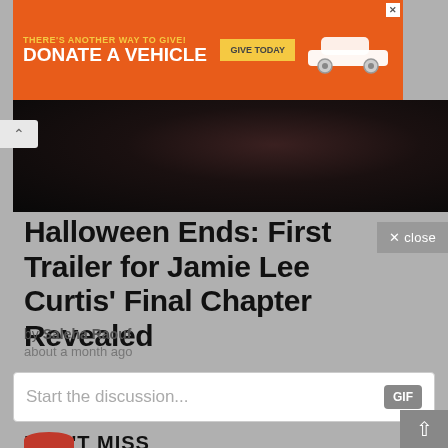[Figure (other): Orange advertisement banner for vehicle donation: 'THERE'S ANOTHER WAY TO GIVE! DONATE A VEHICLE' with 'GIVE TODAY' button and car image]
[Figure (photo): Dark hero image, mostly black with dark brown tones, appears to be a movie still from Halloween Ends]
Halloween Ends: First Trailer for Jamie Lee Curtis' Final Chapter Revealed
by Saleha Raouf
about a month ago
Start the discussion...
DON'T MISS